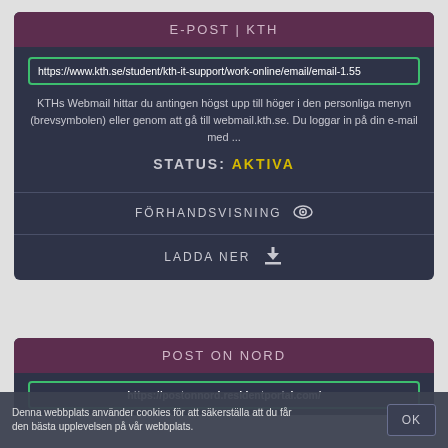E-POST | KTH
https://www.kth.se/student/kth-it-support/work-online/email/email-1.55
KTHs Webmail hittar du antingen högst upp till höger i den personliga menyn (brevsymbolen) eller genom att gå till webmail.kth.se. Du loggar in på din e-mail med ...
STATUS: AKTIVA
FÖRHANDSVISNING
LADDA NER
POST ON NORD
https://postonnord.residentportal.com/
Denna webbplats använder cookies för att säkerställa att du får den bästa upplevelsen på vår webbplats.